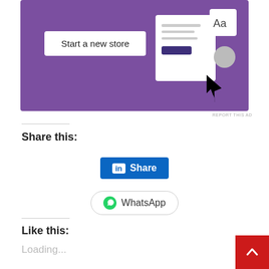[Figure (screenshot): Purple advertisement banner with 'Start a new store' button and UI mockup showing a website builder interface with cursor]
REPORT THIS AD
Share this:
[Figure (screenshot): LinkedIn Share button - blue rectangle with 'in' icon and 'Share' text]
[Figure (screenshot): WhatsApp share button - white rounded button with WhatsApp icon and 'WhatsApp' text]
Like this:
Loading...
Related
CFP for IEEE SCI 2017 conference
The 2017 IEEE International
CFP for SI on Digital Nations – Smart Cities, Innovation & Sustainability in
[Figure (screenshot): Red back-to-top button with upward chevron arrow in bottom-right corner]